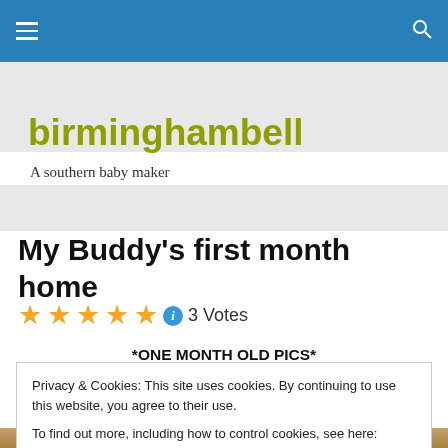birminghambell — navigation bar
birminghambell
A southern baby maker
My Buddy's first month home
★★★★★ ⓘ 3 Votes
*ONE MONTH OLD PICS*
Privacy & Cookies: This site uses cookies. By continuing to use this website, you agree to their use. To find out more, including how to control cookies, see here: Cookie Policy
Close and accept